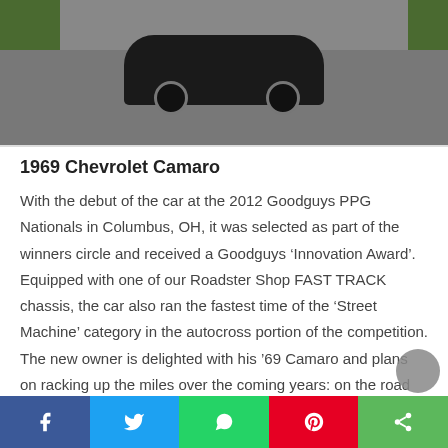[Figure (photo): A dark 1969 Chevrolet Camaro photographed on a road, viewed from the front, with grass on both sides]
1969 Chevrolet Camaro
With the debut of the car at the 2012 Goodguys PPG Nationals in Columbus, OH, it was selected as part of the winners circle and received a Goodguys ‘Innovation Award’. Equipped with one of our Roadster Shop FAST TRACK chassis, the car also ran the fastest time of the ‘Street Machine’ category in the autocross portion of the competition. The new owner is delighted with his ’69 Camaro and plans on racking up the miles over the coming years: on the road and the track!